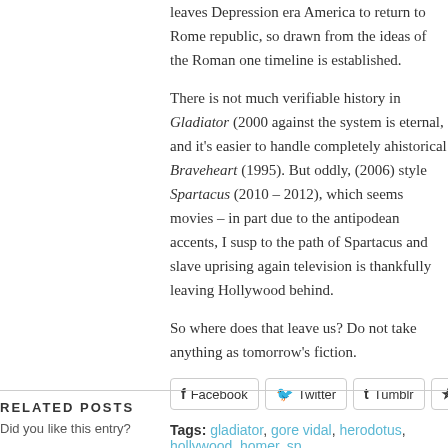leaves Depression era America to return to Rome republic, so drawn from the ideas of the Roman one timeline is established.
There is not much verifiable history in Gladiator (2000) against the system is eternal, and it's easier to handle completely ahistorical Braveheart (1995). But oddly, (2006) style Spartacus (2010 – 2012), which seems movies – in part due to the antipodean accents, I suspect to the path of Spartacus and slave uprising again television is thankfully leaving Hollywood behind.
So where does that leave us? Do not take anything as tomorrow's fiction.
[Figure (other): Share buttons for Facebook, Twitter, Tumblr, and Pinterest]
Tags: gladiator, gore vidal, herodotus, hollywood, homer, sp...